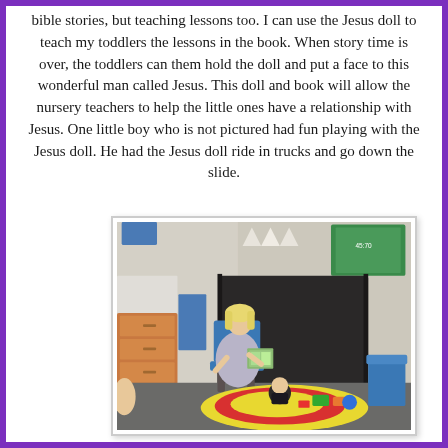bible stories, but teaching lessons too. I can use the Jesus doll to teach my toddlers the lessons in the book. When story time is over, the toddlers can them hold the doll and put a face to this wonderful man called Jesus. This doll and book will allow the nursery teachers to help the little ones have a relationship with Jesus. One little boy who is not pictured had fun playing with the Jesus doll. He had the Jesus doll ride in trucks and go down the slide.
[Figure (photo): A woman with blonde hair sits in a rocking chair in a classroom/nursery room, holding up a book. A toddler sits on a colorful mat on the floor in front of her. The room has wooden drawers on the left, a dark curtain in the background, and educational items on the walls including a green bulletin board.]